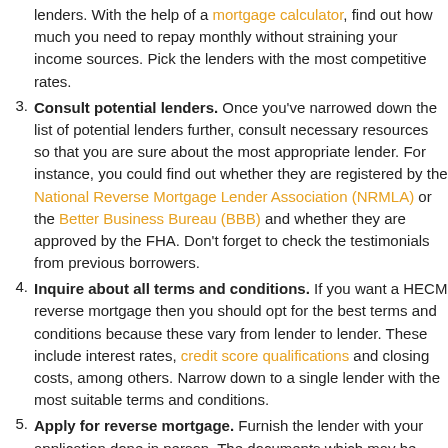(continuation) lenders. With the help of a mortgage calculator, find out how much you need to repay monthly without straining your income sources. Pick the lenders with the most competitive rates.
3. Consult potential lenders. Once you’ve narrowed down the list of potential lenders further, consult necessary resources so that you are sure about the most appropriate lender. For instance, you could find out whether they are registered by the National Reverse Mortgage Lender Association (NRMLA) or the Better Business Bureau (BBB) and whether they are approved by the FHA. Don’t forget to check the testimonials from previous borrowers.
4. Inquire about all terms and conditions. If you want a HECM reverse mortgage then you should opt for the best terms and conditions because these vary from lender to lender. These include interest rates, credit score qualifications and closing costs, among others. Narrow down to a single lender with the most suitable terms and conditions.
5. Apply for reverse mortgage. Furnish the lender with your application done in person. The documents which may be required include proof of age (ID card or Driver’s License), proof